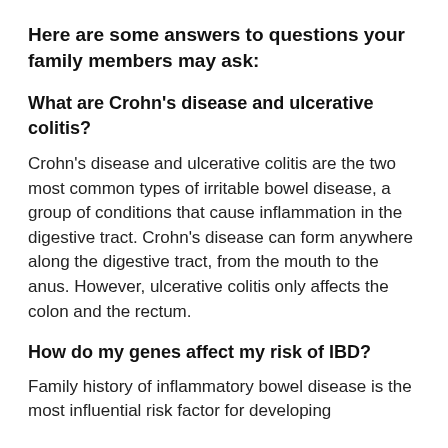Here are some answers to questions your family members may ask:
What are Crohn's disease and ulcerative colitis?
Crohn's disease and ulcerative colitis are the two most common types of irritable bowel disease, a group of conditions that cause inflammation in the digestive tract. Crohn's disease can form anywhere along the digestive tract, from the mouth to the anus. However, ulcerative colitis only affects the colon and the rectum.
How do my genes affect my risk of IBD?
Family history of inflammatory bowel disease is the most influential risk factor for developing